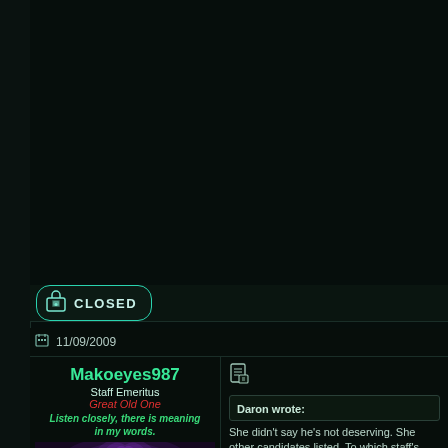[Figure (screenshot): Dark forum/bulletin board interface with black background, showing a closed thread indicator and a post by user Makoeyes987]
CLOSED
11/09/2009
Makoeyes987
Staff Emeritus
Great Old One
Listen closely, there is meaning in my words.
Daron wrote:
She didn't say he's not deserving. She other candidates listed. To which staff's